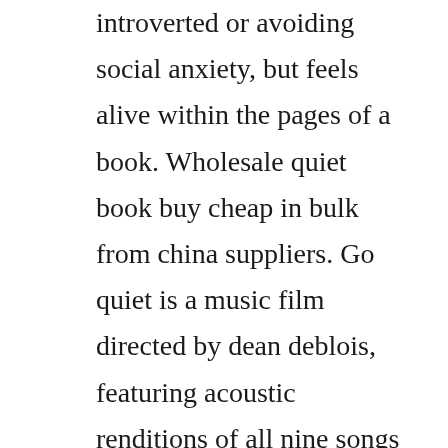introverted or avoiding social anxiety, but feels alive within the pages of a book. Wholesale quiet book buy cheap in bulk from china suppliers. Go quiet is a music film directed by dean deblois, featuring acoustic renditions of all nine songs from the 2010 album go by jon. It is considered to be his life work and he wrote it for 14 years. Jun 19, 2014 before we went to florida on vacation last month i really wanted to make a quiet book for carter to play with on the plane. Oliver peoples rx eyeglasses frames jonsi 5348u 1571 47x21 dark tortoise black.